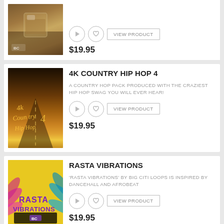[Figure (other): Partial product card at top showing a whiskey glass image with play/heart buttons, VIEW PRODUCT button, and price $19.95]
$19.95
4K COUNTRY HIP HOP 4
A COUNTRY HOP PACK PRODUCED WITH THE CRAZIEST HIP HOP SWAG YOU WILL EVER HEAR!
$19.95
RASTA VIBRATIONS
'RASTA VIBRATIONS' BY BIG CITI LOOPS IS INSPIRED BY DANCEHALL AND AFROBEAT
$19.95
FUNKY CHOPS 2
USE THESE KITS IN YOUR FUNK, GOSPEL, SOUL, POP RNB OR EVEN HIP HOP TRACKS!